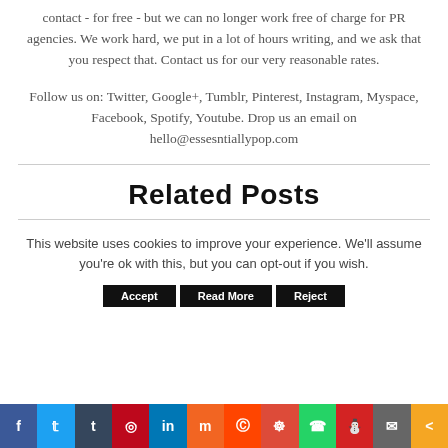contact - for free - but we can no longer work free of charge for PR agencies. We work hard, we put in a lot of hours writing, and we ask that you respect that. Contact us for our very reasonable rates.
Follow us on: Twitter, Google+, Tumblr, Pinterest, Instagram, Myspace, Facebook, Spotify, Youtube. Drop us an email on hello@essesntiallypop.com
Related Posts
This website uses cookies to improve your experience. We'll assume you're ok with this, but you can opt-out if you wish.